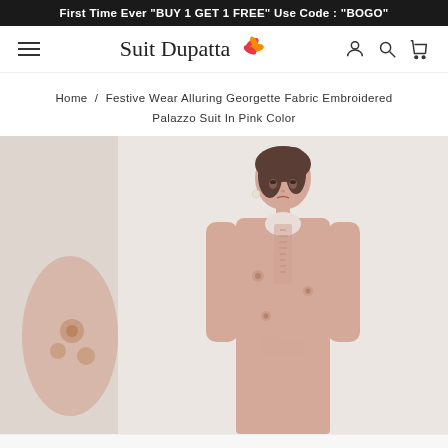First Time Ever "BUY 1 GET 1 FREE" Use Code : "BOGO"
[Figure (logo): Suit Dupatta brand logo with stylized leaf/flame icon in red and pink, serif brand name text]
Home  /  Festive Wear Alluring Georgette Fabric Embroidered Palazzo Suit In Pink Color
[Figure (photo): Main product photo: woman wearing a pink embroidered georgette palazzo suit, standing against a light grey background. Partial view of a second product image visible on the left thumbnail.]
SOLD OUT